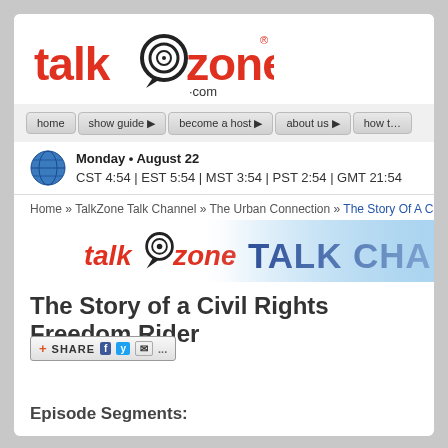talkzone.com INTERNET TALK RADIO
[Figure (logo): TalkZone.com logo with speech bubble icon, red text, with 'INTERNET TALK RADIO' tagline]
[Figure (screenshot): Navigation bar with buttons: home, show guide, become a host, about us, how to]
Monday • August 22
CST 4:54 | EST 5:54 | MST 3:54 | PST 2:54 | GMT 21:54
Home » TalkZone Talk Channel » The Urban Connection » The Story Of A Civil Rights Freedom Rider
[Figure (logo): talkzone TALK CHANNEL banner]
The Story of a Civil Rights Freedom Rider
[Figure (screenshot): Share button with social icons: Facebook, Twitter, email]
Episode Segments:
The Story of a Civil Rights Freedom Rider